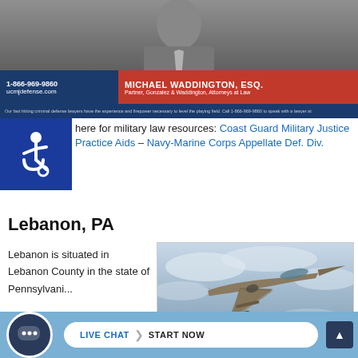[Figure (screenshot): Video banner showing lawyer Michael Waddington with contact info bar: 1-866-969-9860, ucmjdefense.com on blue background left, MICHAEL WADDINGTON, ESQ. Partner, Gonzalez & Waddington, Attorneys at Law on red background right, with tagline bar below.]
here for military law resources: Coast Guard Military Justice Practice Aids – Navy-Marine Corps Appellate Def. Div.
Lebanon, PA
Lebanon is situated in Lebanon County in the state of Pennsylvani...
[Figure (photo): Photograph of a military fighter jet (F-16 style) in flight against a cloudy sky, HDR processed image.]
[Figure (screenshot): Live chat widget at bottom: dark circular chat icon with ellipsis, white pill-shaped button reading LIVE CHAT > START NOW on blue background bar.]